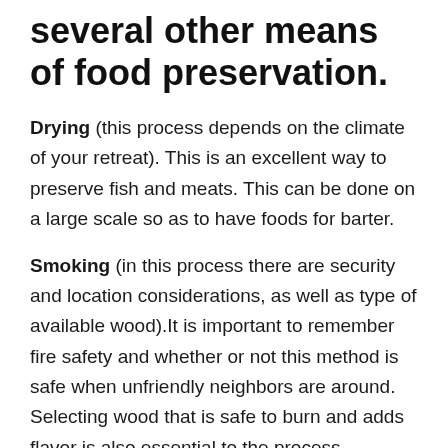several other means of food preservation.
Drying (this process depends on the climate of your retreat). This is an excellent way to preserve fish and meats. This can be done on a large scale so as to have foods for barter.
Smoking (in this process there are security and location considerations, as well as type of available wood).It is important to remember fire safety and whether or not this method is safe when unfriendly neighbors are around. Selecting wood that is safe to burn and adds flavor is also essential to the process.
Salting: salt is an essential item in any survival situation. It is a preservative, adds “spice” to otherwise bland foods and also contains iodine for good health.